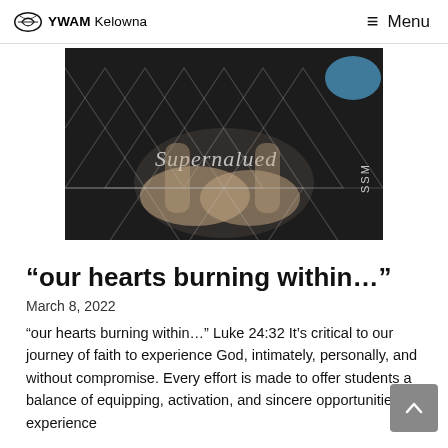YWAM Kelowna  ≡ Menu
[Figure (photo): A photo showing cupped hands with a geometric triangle overlay pattern and the word 'Supernalued' in script. 'SSM' text vertically on right side. Dark background with a blue shoe visible in upper right corner.]
“our hearts burning within…”
March 8, 2022
“our hearts burning within…” Luke 24:32 It’s critical to our journey of faith to experience God, intimately, personally, and without compromise. Every effort is made to offer students a balance of equipping, activation, and sincere opportunities to experience